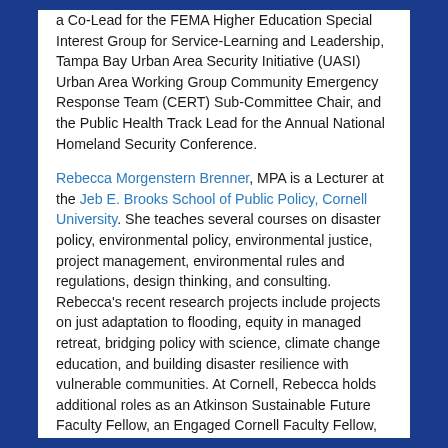a Co-Lead for the FEMA Higher Education Special Interest Group for Service-Learning and Leadership, Tampa Bay Urban Area Security Initiative (UASI) Urban Area Working Group Community Emergency Response Team (CERT) Sub-Committee Chair, and the Public Health Track Lead for the Annual National Homeland Security Conference.
Rebecca Morgenstern Brenner, MPA is a Lecturer at the Jeb E. Brooks School of Public Policy, Cornell University. She teaches several courses on disaster policy, environmental policy, environmental justice, project management, environmental rules and regulations, design thinking, and consulting. Rebecca's recent research projects include projects on just adaptation to flooding, equity in managed retreat, bridging policy with science, climate change education, and building disaster resilience with vulnerable communities. At Cornell, Rebecca holds additional roles as an Atkinson Sustainable Future Faculty Fellow, an Engaged Cornell Faculty Fellow, and a Maurio Einaudi Faculty Associate. In addition to her teaching and research, Rebecca has extensive experience as an environmental consultant in New York and California, working with community organizations, government...